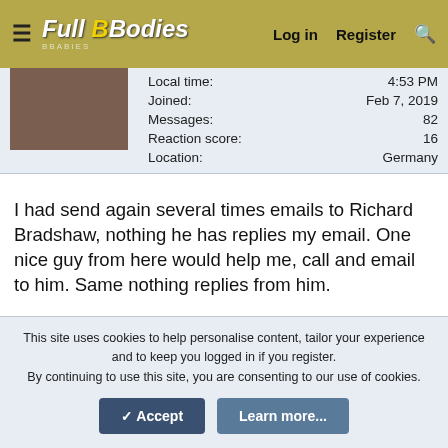≡  Full B Bodies | Log in  Register  🔍
| Field | Value |
| --- | --- |
| Local time: | 4:53 PM |
| Joined: | Feb 7, 2019 |
| Messages: | 82 |
| Reaction score: | 16 |
| Location: | Germany |
I had send again several times emails to Richard Bradshaw, nothing he has replies my email. One nice guy from here would help me, call and email to him. Same nothing replies from him.
I am very angry about him. He is scammer and suck. Worst business partner I have ever...
Jan 20, 2021  #476
This site uses cookies to help personalise content, tailor your experience and to keep you logged in if you register.
By continuing to use this site, you are consenting to our use of cookies.